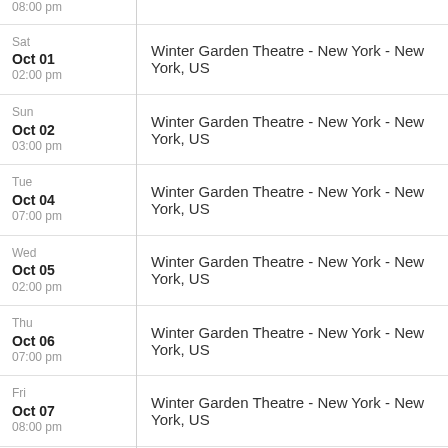| Date | Venue |
| --- | --- |
| Sat
Oct 01
02:00 pm | Winter Garden Theatre - New York - New York, US |
| Sun
Oct 02
03:00 pm | Winter Garden Theatre - New York - New York, US |
| Tue
Oct 04
07:00 pm | Winter Garden Theatre - New York - New York, US |
| Wed
Oct 05
02:00 pm | Winter Garden Theatre - New York - New York, US |
| Thu
Oct 06
07:00 pm | Winter Garden Theatre - New York - New York, US |
| Fri
Oct 07
08:00 pm | Winter Garden Theatre - New York - New York, US |
| Sat
(partial) |  |